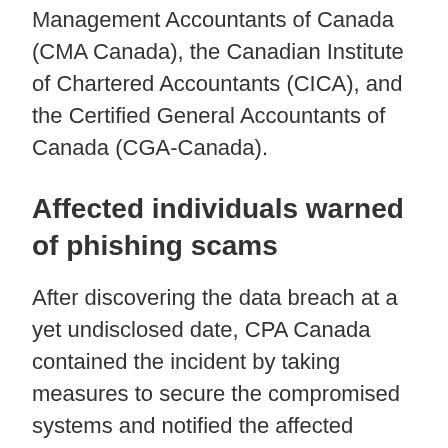Management Accountants of Canada (CMA Canada), the Canadian Institute of Chartered Accountants (CICA), and the Certified General Accountants of Canada (CGA-Canada).
Affected individuals warned of phishing scams
After discovering the data breach at a yet undisclosed date, CPA Canada contained the incident by taking measures to secure the compromised systems and notified the affected individuals after identifying them.